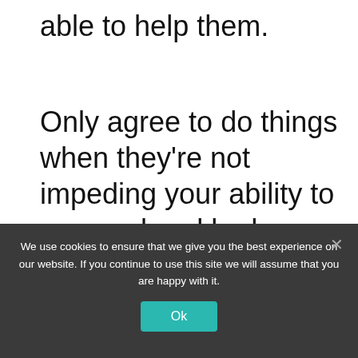able to help them.
Only agree to do things when they're not impeding your ability to succeed and be happy.
[Figure (infographic): Social media share sidebar with Facebook (blue), Twitter (cyan), and Pinterest (red) buttons, showing 5 shares]
Helping others is a great form of stress relief because it makes you
We use cookies to ensure that we give you the best experience on our website. If you continue to use this site we will assume that you are happy with it.